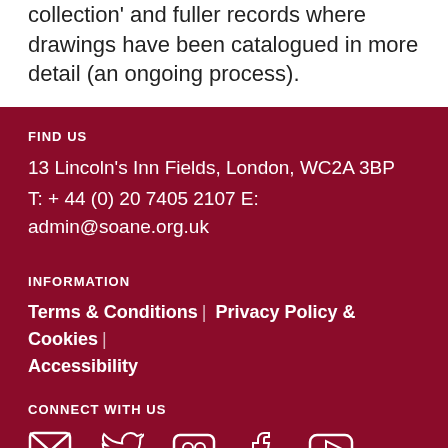collection' and fuller records where drawings have been catalogued in more detail (an ongoing process).
FIND US
13 Lincoln's Inn Fields, London, WC2A 3BP
T: + 44 (0) 20 7405 2107 E: admin@soane.org.uk
INFORMATION
Terms & Conditions | Privacy Policy & Cookies | Accessibility
CONNECT WITH US
[Figure (illustration): Social media icons: email, Twitter, Flickr, Facebook, YouTube]